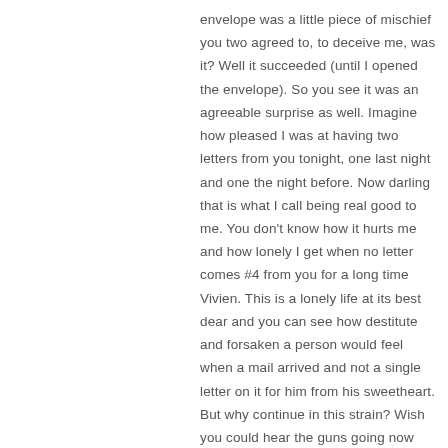envelope was a little piece of mischief you two agreed to, to deceive me, was it? Well it succeeded (until I opened the envelope). So you see it was an agreeable surprise as well. Imagine how pleased I was at having two letters from you tonight, one last night and one the night before. Now darling that is what I call being real good to me. You don't know how it hurts me and how lonely I get when no letter comes #4 from you for a long time Vivien. This is a lonely life at its best dear and you can see how destitute and forsaken a person would feel when a mail arrived and not a single letter on it for him from his sweetheart. But why continue in this strain? Wish you could hear the guns going now Vivien. As a matter of fact they have been going all